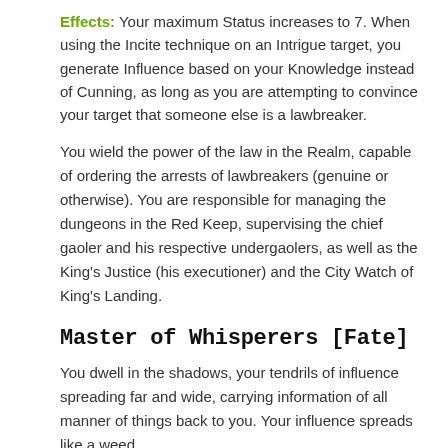Effects: Your maximum Status increases to 7. When using the Incite technique on an Intrigue target, you generate Influence based on your Knowledge instead of Cunning, as long as you are attempting to convince your target that someone else is a lawbreaker.
You wield the power of the law in the Realm, capable of ordering the arrests of lawbreakers (genuine or otherwise). You are responsible for managing the dungeons in the Red Keep, supervising the chief gaoler and his respective undergaolers, as well as the King's Justice (his executioner) and the City Watch of King's Landing.
Master of Whisperers [Fate]
You dwell in the shadows, your tendrils of influence spreading far and wide, carrying information of all manner of things back to you. Your influence spreads like a weed.
Requirements: Must be appointed by the King.
Effects: Your maximum Status increases to 7. Once you have this Benefit, each time you purchase the Connections Benefit, it